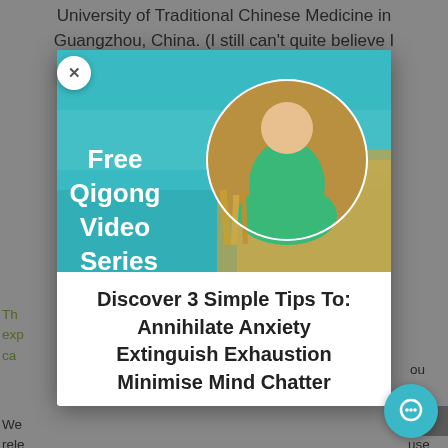University of Traditional Chinese Medicine in Guangzhou, China. (I still can't quite believe I
Th... exp... ca... ou
We... rele... rep... nd... of A... use
Set...
[Figure (photo): Modal popup with a teal/turquoise background image showing a woman in a green jacket sitting in a field of golden grass, within a circular portrait frame. White bold text on the left reads 'Free Qigong Video Series'.]
Discover 3 Simple Tips To:
Annihilate Anxiety
Extinguish Exhaustion
Minimise Mind Chatter